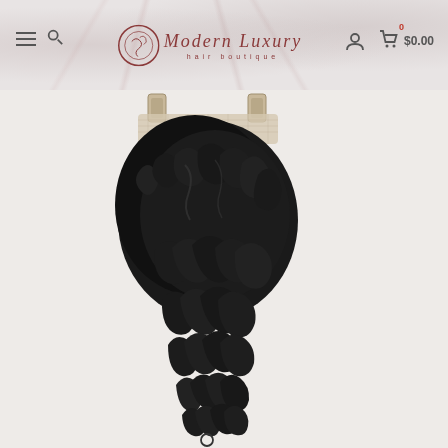[Figure (screenshot): E-commerce website header for Modern Luxury Hair Boutique with marble background, hamburger menu, search icon, logo in center, user icon, cart icon with 0 badge and $0.00 price]
[Figure (photo): Product photo of curly hair lace closure/extension with black kinky curly hair hanging down against light grey background]